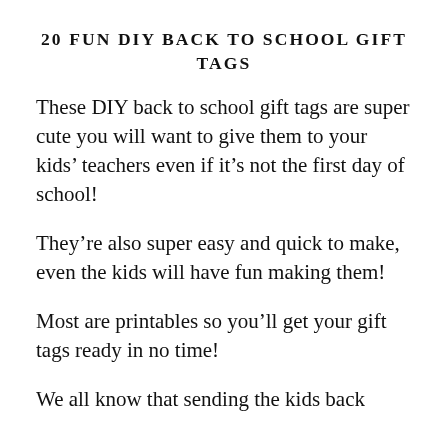20 FUN DIY BACK TO SCHOOL GIFT TAGS
These DIY back to school gift tags are super cute you will want to give them to your kids’ teachers even if it’s not the first day of school!
They’re also super easy and quick to make, even the kids will have fun making them!
Most are printables so you’ll get your gift tags ready in no time!
We all know that sending the kids back